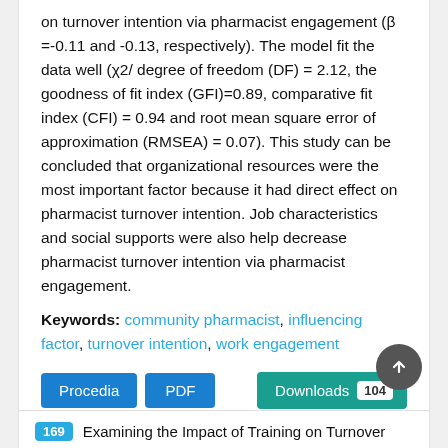on turnover intention via pharmacist engagement (β =-0.11 and -0.13, respectively). The model fit the data well (χ2/ degree of freedom (DF) = 2.12, the goodness of fit index (GFI)=0.89, comparative fit index (CFI) = 0.94 and root mean square error of approximation (RMSEA) = 0.07). This study can be concluded that organizational resources were the most important factor because it had direct effect on pharmacist turnover intention. Job characteristics and social supports were also help decrease pharmacist turnover intention via pharmacist engagement.
Keywords: community pharmacist, influencing factor, turnover intention, work engagement
Procedia  PDF    Downloads 104
169  Examining the Impact of Training on Turnover